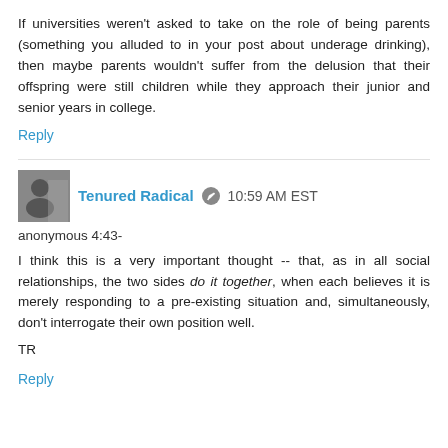If universities weren't asked to take on the role of being parents (something you alluded to in your post about underage drinking), then maybe parents wouldn't suffer from the delusion that their offspring were still children while they approach their junior and senior years in college.
Reply
Tenured Radical  10:59 AM EST
anonymous 4:43-
I think this is a very important thought -- that, as in all social relationships, the two sides do it together, when each believes it is merely responding to a pre-existing situation and, simultaneously, don't interrogate their own position well.
TR
Reply